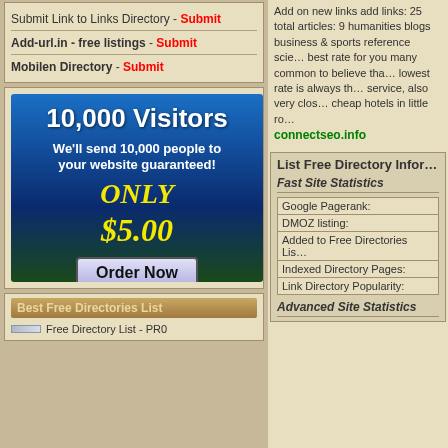Submit Link to Links Directory - Submit
Add-url.in - free listings - Submit
Mobilen Directory - Submit
[Figure (infographic): Blue/dark gradient ad banner: '10,000 Visitors - We'll send 10,000 people to your website guaranteed! ONLY $5.00 Order Now']
Best Free Directories List
Free Directory List - PR0
Add on new links add links: 25 total articles: 9 humanities blogs business & sports reference science best rate for you many common to believe that lowest rate is always the service, also very close cheap hotels in little ro
connectseo.info
List Free Directory Information
Fast Site Statistics
| Google Pagerank: |
| DMOZ listing: |
| Added to Free Directories Lis... |
| Indexed Directory Pages: |
| Link Directory Popularity: |
Advanced Site Statistics